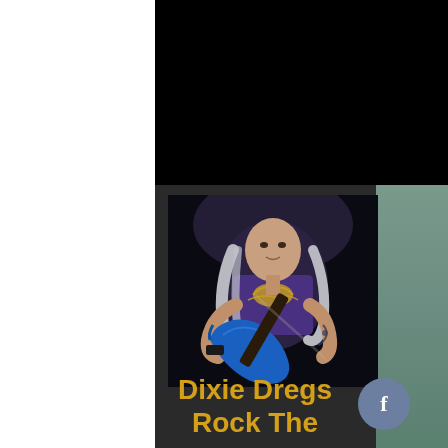[Figure (photo): Guitarist with long gray hair playing a blue electric guitar, wearing a sleeveless purple top with a golden eagle design, on a dark stage background]
Dixie Dregs Rock The